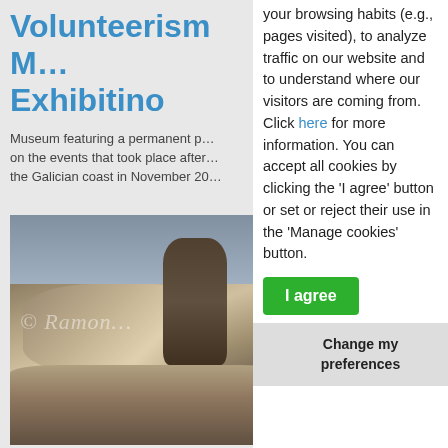Volunteerism M… Exhibitino
Museum featuring a permanent p… on the events that took place after… the Galician coast in November 20…
[Figure (photo): Black and white photograph of people on rocky coastal terrain, with watermark '© Ramon…']
your browsing habits (e.g., pages visited), to analyze traffic on our website and to understand where our visitors are coming from. Click here for more information. You can accept all cookies by clicking the 'I agree' button or set or reject their use in the 'Manage cookies' button.
I agree
Change my preferences